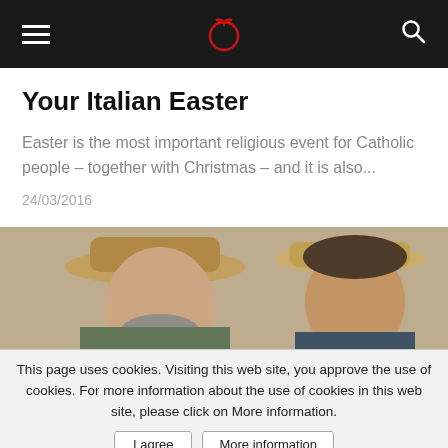Navigation bar with hamburger menu, tomato logo, and search icon
Your Italian Easter
Easter is the most important religious event for Catholic people – together with Christmas – and it is also...
24/03/2016
[Figure (photo): Photo of an older man wearing a straw hat smiling, alongside a younger person also wearing a straw hat]
This page uses cookies. Visiting this web site, you approve the use of cookies. For more information about the use of cookies in this web site, please click on More information.